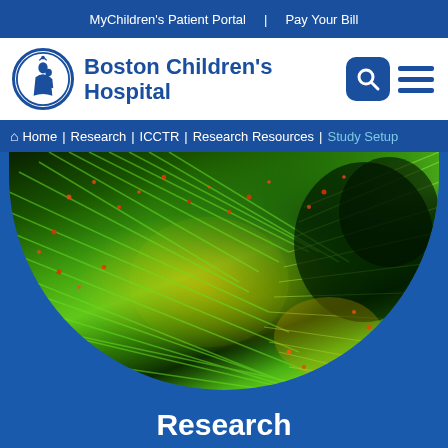MyChildren's Patient Portal | Pay Your Bill
[Figure (logo): Boston Children's Hospital logo with oval emblem and hospital name text, search icon, and hamburger menu icon]
Home | Research | ICCTR | Research Resources | Study Setup
[Figure (photo): Fluorescence microscopy image of biological tissue showing green filaments and red dots against dark background, displayed in an oval crop]
Research